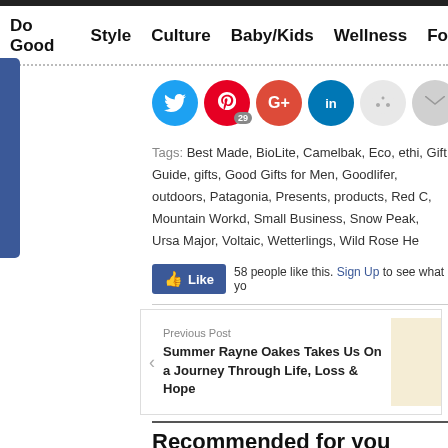Do Good | Style | Culture | Baby/Kids | Wellness | Fo
[Figure (screenshot): Social sharing buttons: Twitter, Pinterest (29), Google+, LinkedIn, Reddit, Email, Print]
Tags: Best Made, BioLite, Camelbak, Eco, ethi, Gift Guide, gifts, Good Gifts for Men, Goodlifer, outdoors, Patagonia, Presents, products, Red, Mountain Workd, Small Business, Snow Peak, Ursa Major, Voltaic, Wetterlings, Wild Rose He
[Figure (screenshot): Facebook Like button with 58 people like this. Sign Up to see what yo]
Previous Post
Summer Rayne Oakes Takes Us On a Journey Through Life, Loss & Hope
Recommended for you
[Figure (photo): Recommended article thumbnail: Made in Australia with circular overlay badge]
[Figure (photo): Recommended article thumbnail: Good gifts with circular overlay badge]